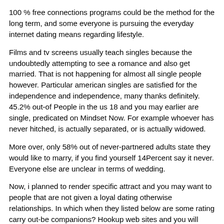100 % free connections programs could be the method for the long term, and some everyone is pursuing the everyday internet dating means regarding lifestyle.
Films and tv screens usually teach singles because the undoubtedly attempting to see a romance and also get married. That is not happening for almost all single people however. Particular american singles are satisfied for the independence and independence, many thanks definitely. 45.2% out-of People in the us 18 and you may earlier are single, predicated on Mindset Now. For example whoever has never hitched, is actually separated, or is actually widowed.
More over, only 58% out of never-partnered adults state they would like to marry, if you find yourself 14Percent say it never. Everyone else are unclear in terms of wedding.
Now, i planned to render specific attract and you may want to people that are not given a loyal dating otherwise relationships. In which when they listed below are some rating carry out-be companions? Hookup web sites and you will programs are a good alternatives, especially the thirteen less than, simply because they'reeasy and much easier, and you